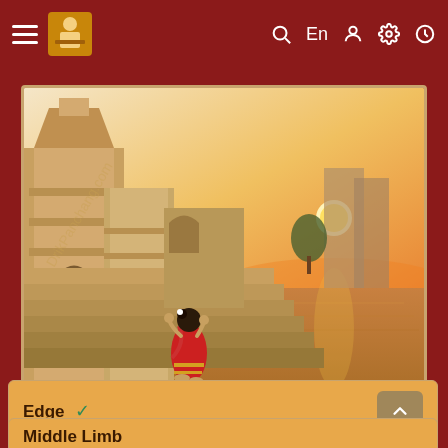≡  [logo]  🔍  En  👤  ⚙  🕐
[Figure (illustration): An illustration of a woman in a red sari standing on ghats (stone steps) by a river, praying toward a sunset. Stone temple towers visible on the left, calm river water and glowing sun on the right. Watermark text 'DrikPanchang.com' visible diagonally. Style is digital painting.]
Edge ✓
☀ Sunrise - 06:53 AM
☀ Sunset - 04:53 PM
* currently used and suggested by Drik Panchang
Middle Limb